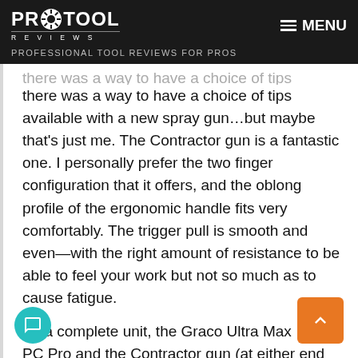PRO TOOL REVIEWS — PROFESSIONAL TOOL REVIEWS FOR PROS
there was a way to have a choice of tips available with a new spray gun…but maybe that's just me. The Contractor gun is a fantastic one. I personally prefer the two finger configuration that it offers, and the oblong profile of the ergonomic handle fits very comfortably. The trigger pull is smooth and even—with the right amount of resistance to be able to feel your work but not so much as to cause fatigue.
As a complete unit, the Graco Ultra Max II 490 PC Pro and the Contractor gun (at either end of a BlueMax II airless hose) come together to make a really impressive tool. It offers very controllable, reliable power. Even with the pressure adjusted up for the